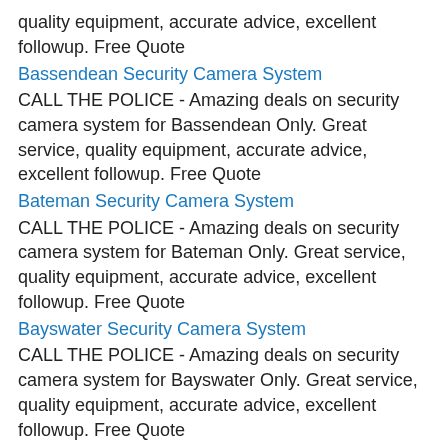quality equipment, accurate advice, excellent followup. Free Quote
Bassendean Security Camera System
CALL THE POLICE - Amazing deals on security camera system for Bassendean Only. Great service, quality equipment, accurate advice, excellent followup. Free Quote
Bateman Security Camera System
CALL THE POLICE - Amazing deals on security camera system for Bateman Only. Great service, quality equipment, accurate advice, excellent followup. Free Quote
Bayswater Security Camera System
CALL THE POLICE - Amazing deals on security camera system for Bayswater Only. Great service, quality equipment, accurate advice, excellent followup. Free Quote
Beaconsfield Security Camera System
CALL THE POLICE - Amazing deals on security camera system for